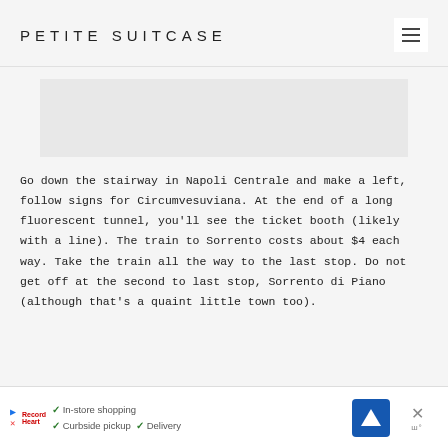PETITE SUITCASE
[Figure (photo): Light grey rectangular image placeholder area]
Go down the stairway in Napoli Centrale and make a left, follow signs for Circumvesuviana. At the end of a long fluorescent tunnel, you'll see the ticket booth (likely with a line). The train to Sorrento costs about $4 each way. Take the train all the way to the last stop. Do not get off at the second to last stop, Sorrento di Piano (although that's a quaint little town too).
[Figure (screenshot): Advertisement bar at bottom: play button, X button, RecordHeart logo, checkmarks for In-store shopping, Curbside pickup, Delivery, blue diamond navigation icon, close X button]